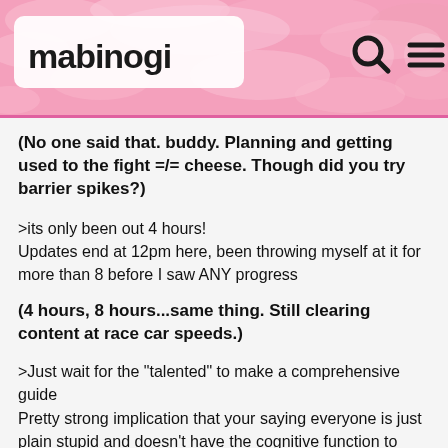[Figure (screenshot): Mabinogi website header with pink/rose splattered background, Mabinogi logo in white rounded box on left, search icon and hamburger menu icon on right]
(No one said that. buddy. Planning and getting used to the fight =/= cheese. Though did you try barrier spikes?)
>its only been out 4 hours!
Updates end at 12pm here, been throwing myself at it for more than 8 before I saw ANY progress
(4 hours, 8 hours...same thing. Still clearing content at race car speeds.)
>Just wait for the "talented" to make a comprehensive guide
Pretty strong implication that your saying everyone is just plain stupid and doesn't have the cognitive function to understand the complexities of the game, except for the wiki contributor that will just plagiarise what advice's, tips, hints, and tricks the launch crew painstakingly uncovers after the first few weeks have